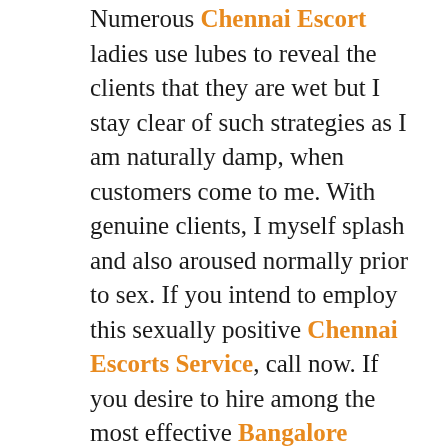Numerous Chennai Escort ladies use lubes to reveal the clients that they are wet but I stay clear of such strategies as I am naturally damp, when customers come to me. With genuine clients, I myself splash and also aroused normally prior to sex. If you intend to employ this sexually positive Chennai Escorts Service, call now. If you desire to hire among the most effective Bangalore Escorts Services, after that engage me. Notably, I use my solutions at pocket-friendly prices while the high quality of the service is the top-class. During the sex, if both partners really feel natural stimulation for every other, this contributes to the enjoyment. And I have real stimulation with my clients and also for this reason, there is no demand to use